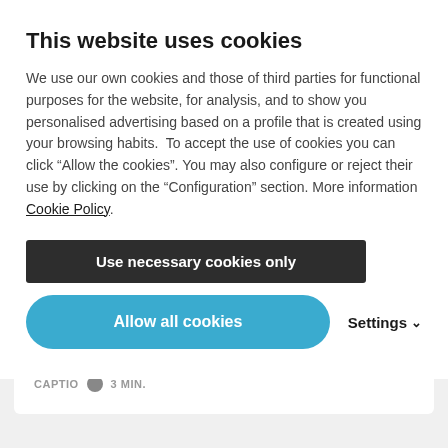This website uses cookies
We use our own cookies and those of third parties for functional purposes for the website, for analysis, and to show you personalised advertising based on a profile that is created using your browsing habits.  To accept the use of cookies you can click “Allow the cookies”. You may also configure or reject their use by clicking on the “Configuration” section. More information Cookie Policy.
Use necessary cookies only
Allow all cookies
Settings
improve Captio’s access control
CAPTIO   3 MIN.